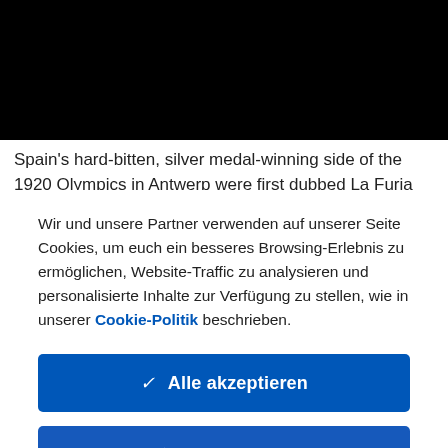[Figure (photo): Black rectangle at top of page, likely a photo that is obscured/blacked out]
Spain's hard-bitten, silver medal-winning side of the 1920 Olympics in Antwerp were first dubbed La Furia Española, owing to their fierce, aggressive and direct
Wir und unsere Partner verwenden auf unserer Seite Cookies, um euch ein besseres Browsing-Erlebnis zu ermöglichen, Website-Traffic zu analysieren und personalisierte Inhalte zur Verfügung zu stellen, wie in unserer Cookie-Politik beschrieben.
✓  Alle akzeptieren
✗  Alle ablehnen
Cookie-Einstellungen  >